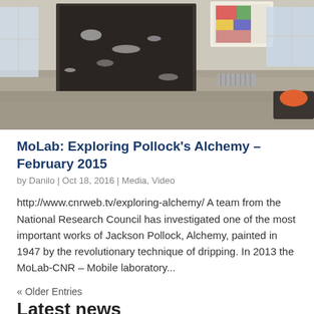[Figure (photo): Interior room with framed abstract artworks leaning against walls, scattered papers or shredded material covering the floor, windows in the background.]
MoLab: Exploring Pollock's Alchemy – February 2015
by Danilo | Oct 18, 2016 | Media, Video
http://www.cnrweb.tv/exploring-alchemy/ A team from the National Research Council has investigated one of the most important works of Jackson Pollock, Alchemy, painted in 1947 by the revolutionary technique of dripping. In 2013 the MoLab-CNR – Mobile laboratory...
« Older Entries
Latest news